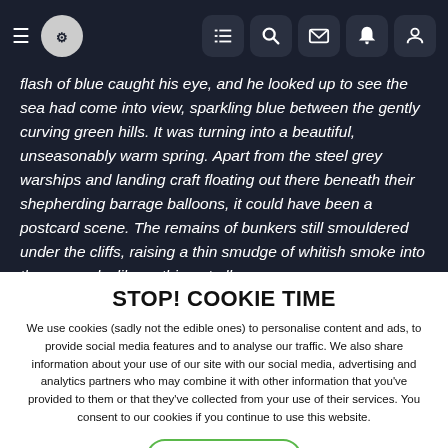Navigation bar with hamburger menu, logo, and icons for list, search, mail, notification, and profile
flash of blue caught his eye, and he looked up to see the sea had come into view, sparkling blue between the gently curving green hills. It was turning into a beautiful, unseasonably warm spring. Apart from the steel grey warships and landing craft floating out there beneath their shepherding barrage balloons, it could have been a postcard scene. The remains of bunkers still smouldered under the cliffs, raising a thin smudge of whitish smoke into the azure sky like nothing at all.

Illfracombe was a genteel place, picture-book cottages and a
STOP! COOKIE TIME
We use cookies (sadly not the edible ones) to personalise content and ads, to provide social media features and to analyse our traffic. We also share information about your use of our site with our social media, advertising and analytics partners who may combine it with other information that you've provided to them or that they've collected from your use of their services. You consent to our cookies if you continue to use this website.
✓ ACCEPT